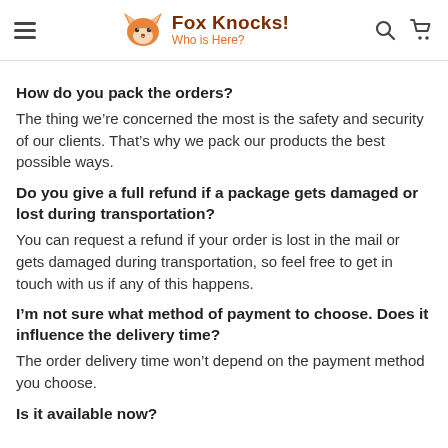Fox Knocks! Who is Here?
How do you pack the orders?
The thing we’re concerned the most is the safety and security of our clients. That’s why we pack our products the best possible ways.
Do you give a full refund if a package gets damaged or lost during transportation?
You can request a refund if your order is lost in the mail or gets damaged during transportation, so feel free to get in touch with us if any of this happens.
I’m not sure what method of payment to choose. Does it influence the delivery time?
The order delivery time won’t depend on the payment method you choose.
Is it available now?